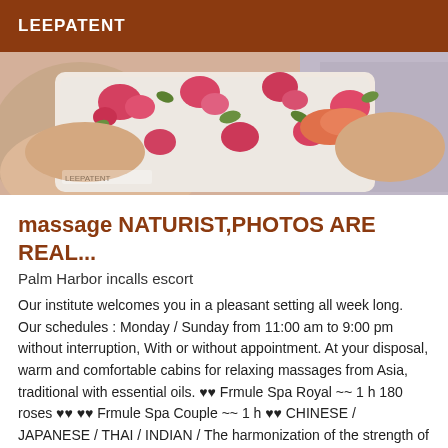LEEPATENT
[Figure (photo): Photo of a person in floral clothing, massage-related listing image]
massage NATURIST,PHOTOS ARE REAL...
Palm Harbor incalls escort
Our institute welcomes you in a pleasant setting all week long. Our schedules : Monday / Sunday from 11:00 am to 9:00 pm without interruption, With or without appointment. At your disposal, warm and comfortable cabins for relaxing massages from Asia, traditional with essential oils. ♥♥ Frmule Spa Royal ~~ 1 h 180 roses ♥♥ ♥♥ Frmule Spa Couple ~~ 1 h ♥♥ CHINESE / JAPANESE / THAI / INDIAN / The harmonization of the strength of the supports and the softness of the touch will soothe your muscular tensions and will bring you